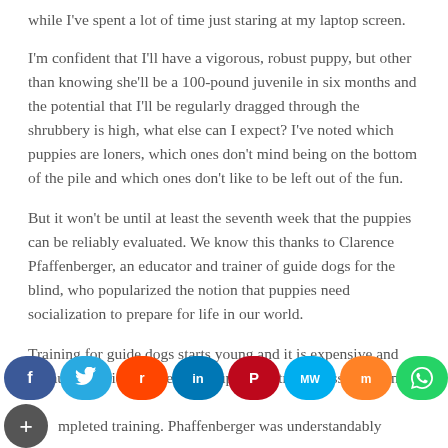while I've spent a lot of time just staring at my laptop screen.
I'm confident that I'll have a vigorous, robust puppy, but other than knowing she'll be a 100-pound juvenile in six months and the potential that I'll be regularly dragged through the shrubbery is high, what else can I expect? I've noted which puppies are loners, which ones don't mind being on the bottom of the pile and which ones don't like to be left out of the fun.
But it won't be until at least the seventh week that the puppies can be reliably evaluated. We know this thanks to Clarence Pfaffenberger, an educator and trainer of guide dogs for the blind, who popularized the notion that puppies need socialization to prepare for life in our world.
Training for guide dogs starts young and it is expensive and exhausting. Picking the right puppies to train is essential. In [partial text obscured] completed training. Phaffenberger was understandably [text cut off]